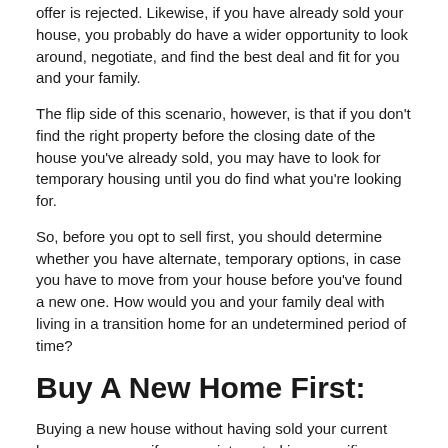offer is rejected. Likewise, if you have already sold your house, you probably do have a wider opportunity to look around, negotiate, and find the best deal and fit for you and your family.
The flip side of this scenario, however, is that if you don't find the right property before the closing date of the house you've already sold, you may have to look for temporary housing until you do find what you're looking for.
So, before you opt to sell first, you should determine whether you have alternate, temporary options, in case you have to move from your house before you've found a new one. How would you and your family deal with living in a transition home for an undetermined period of time?
Buy A New Home First:
Buying a new house without having sold your current home may occur if you are interested in a specific property and will only sell your current home if this